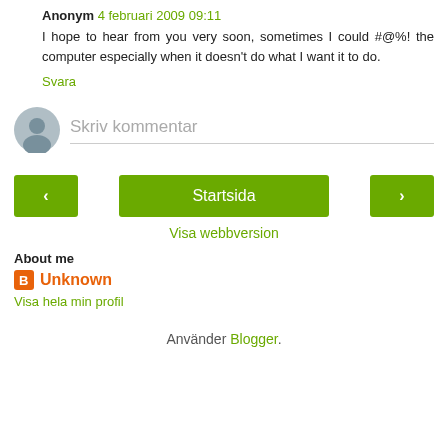Anonym 4 februari 2009 09:11
I hope to hear from you very soon, sometimes I could #@%! the computer especially when it doesn't do what I want it to do.
Svara
Skriv kommentar
Startsida
Visa webbversion
About me
Unknown
Visa hela min profil
Använder Blogger.